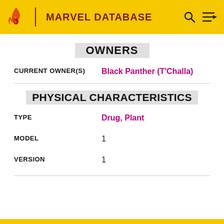MARVEL DATABASE
OWNERS
CURRENT OWNER(S): Black Panther (T'Challa)
PHYSICAL CHARACTERISTICS
TYPE: Drug, Plant
MODEL: 1
VERSION: 1